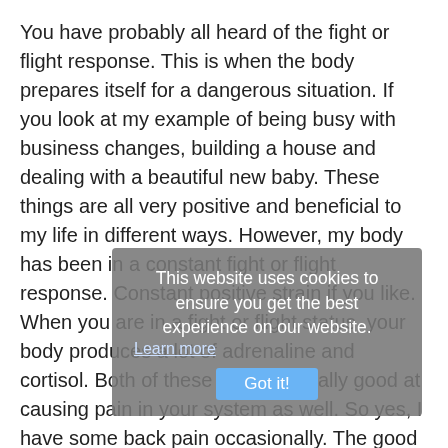You have probably all heard of the fight or flight response. This is when the body prepares itself for a dangerous situation. If you look at my example of being busy with business changes, building a house and dealing with a beautiful new baby. These things are all very positive and beneficial to my life in different ways. However, my body has been in a constant fight or flight response. Constant positive strain if you like. When you are in a fight or flight status, your body produces a lot of adrenaline and cortisol. Both of these guys are really good at causing pain in your system as well. So yes, I have some back pain occasionally. The good thing is that I know what to do about it.

I stretch daily, relax and take time to lie down and breath on my foam roller and I have learned that constant positive strain can cause pain. Sometimes recognising a problem is the first stage in fixing it. I have recognised that correct pacing and taking breaks through life is really important. Making sure you move regularly decrease
This website uses cookies to ensure you get the best experience on our website. Learn more Got it!